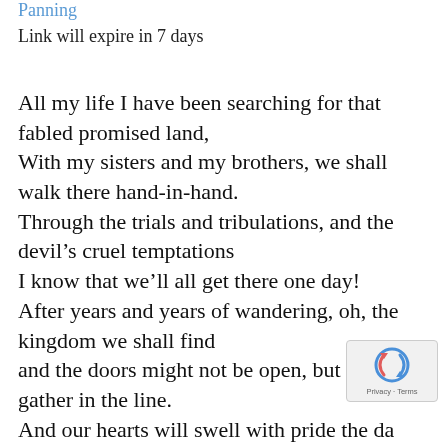Panning
Link will expire in 7 days
All my life I have been searching for that fabled promised land,
With my sisters and my brothers, we shall walk there hand-in-hand.
Through the trials and tribulations, and the devil’s cruel temptations
I know that we’ll all get there one day!
After years and years of wandering, oh, the kingdom we shall find
and the doors might not be open, but we’ll gather in the line.
And our hearts will swell with pride the day those gates swing open wide
and the...
[Figure (logo): reCAPTCHA badge with spinning arrows logo and Privacy/Terms text]